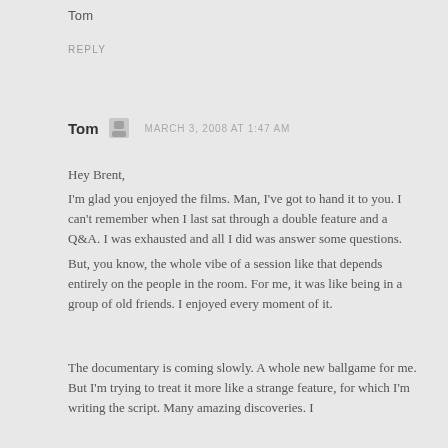Tom
REPLY
Tom   MARCH 3, 2008 AT 1:47 AM
Hey Brent,
I'm glad you enjoyed the films. Man, I've got to hand it to you. I can't remember when I last sat through a double feature and a Q&A. I was exhausted and all I did was answer some questions.
But, you know, the whole vibe of a session like that depends entirely on the people in the room. For me, it was like being in a group of old friends. I enjoyed every moment of it.
The documentary is coming slowly. A whole new ballgame for me. But I'm trying to treat it more like a strange feature, for which I'm writing the script. Many amazing discoveries. I